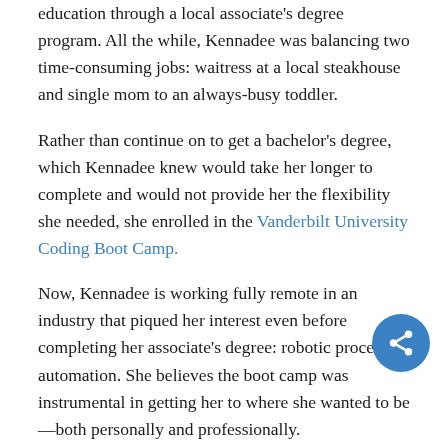education through a local associate's degree program. All the while, Kennadee was balancing two time-consuming jobs: waitress at a local steakhouse and single mom to an always-busy toddler.
Rather than continue on to get a bachelor's degree, which Kennadee knew would take her longer to complete and would not provide her the flexibility she needed, she enrolled in the Vanderbilt University Coding Boot Camp.
Now, Kennadee is working fully remote in an industry that piqued her interest even before completing her associate's degree: robotic process automation. She believes the boot camp was instrumental in getting her to where she wanted to be—both personally and professionally.
“That balance of having my family’s needs met, while also having a mentally stimulating career, is really important to me,” she says. “When I was working through my associate’s degree, I just felt stuck. And during my waitressing years,